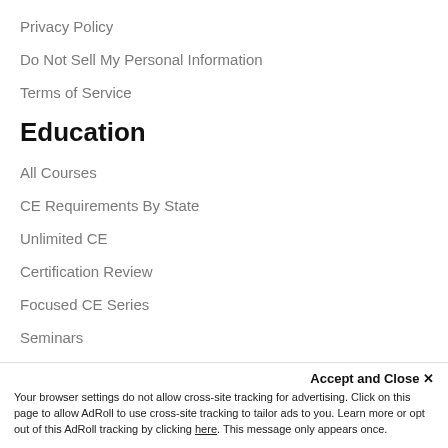Privacy Policy
Do Not Sell My Personal Information
Terms of Service
Education
All Courses
CE Requirements By State
Unlimited CE
Certification Review
Focused CE Series
Seminars
CE Courses Instructions
CE Course Policies
CE Writer's Guidelines
Accept and Close ✕
Your browser settings do not allow cross-site tracking for advertising. Click on this page to allow AdRoll to use cross-site tracking to tailor ads to you. Learn more or opt out of this AdRoll tracking by clicking here. This message only appears once.